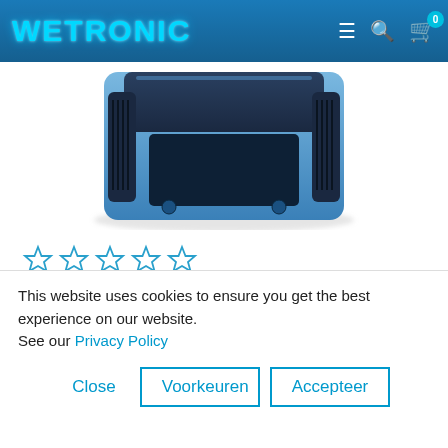WETRONIC
[Figure (photo): Partial top-down view of a blue Traxxas EZ-Peak Live Dual Charger device against white background]
[Figure (other): 5 empty star rating icons in cyan/blue outline]
Traxxas EZ-Peak Live Dual Charger 200W TRX2973
EZ-Peak Live Dual Charger 200W Quick Features on EZ-Peak Live Dual (#2973) iD Charger 200 Watt 26+
This website uses cookies to ensure you get the best experience on our website.
See our Privacy Policy
Close
Voorkeuren
Accepteer